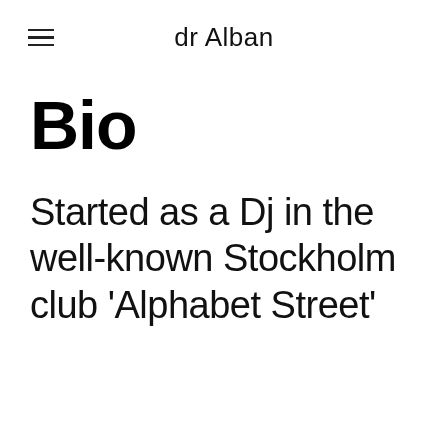dr Alban
Bio
Started as a Dj in the well-known Stockholm club 'Alphabet Street'